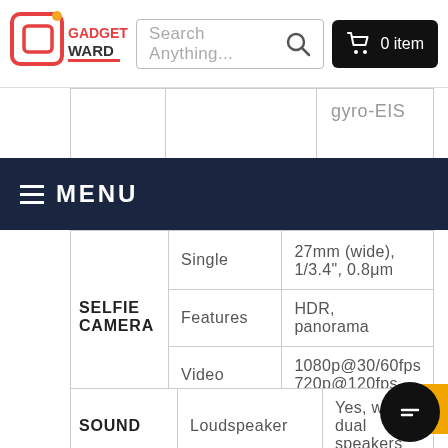GADGET WARD | Search Anything... | 0 item
|  |  |  |
| --- | --- | --- |
|  |  | gyro-EIS |
MENU
|  |  |  |
| --- | --- | --- |
| SELFIE CAMERA | Single | 27mm (wide), 1/3.4", 0.8μm |
| SELFIE CAMERA | Features | HDR, panorama |
| SELFIE CAMERA | Video | 1080p@30/60fps 720p@120fps |
|  |  |  |
| --- | --- | --- |
| SOUND | Loudspeaker | Yes, with dual speakers |